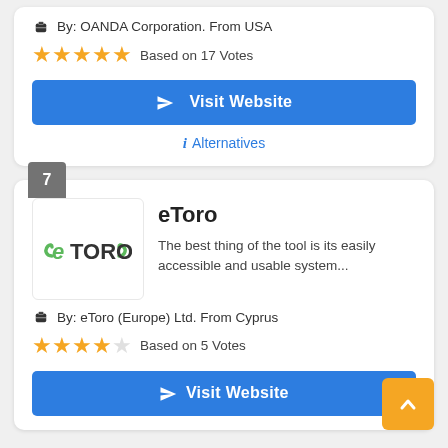By: OANDA Corporation. From USA
★★★★★ Based on 17 Votes
Visit Website
i Alternatives
7
[Figure (logo): eToro logo with green stylized text and curls]
eToro
The best thing of the tool is its easily accessible and usable system...
By: eToro (Europe) Ltd. From Cyprus
★★★★☆ Based on 5 Votes
Visit Website